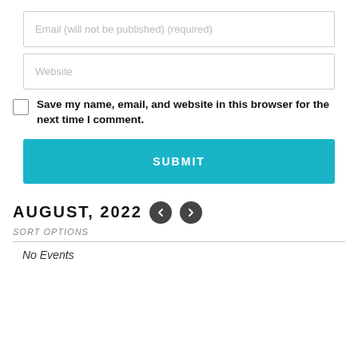Email (will not be published) (required)
Website
Save my name, email, and website in this browser for the next time I comment.
SUBMIT
AUGUST, 2022
SORT OPTIONS
No Events